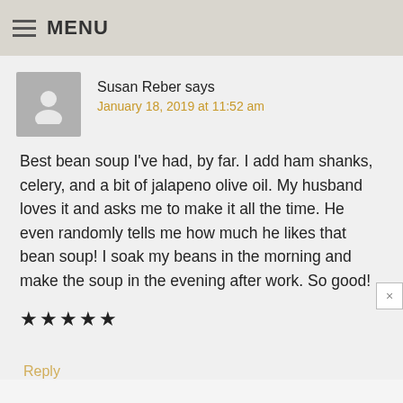MENU
Susan Reber says
January 18, 2019 at 11:52 am
Best bean soup I've had, by far. I add ham shanks, celery, and a bit of jalapeno olive oil. My husband loves it and asks me to make it all the time. He even randomly tells me how much he likes that bean soup! I soak my beans in the morning and make the soup in the evening after work. So good!
★★★★★
Reply